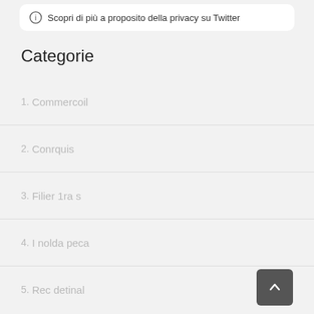Scopri di più a proposito della privacy su Twitter
Categorie
1. Commercoil
2. Conrquis
3. Filier 1ra s
4. I nolda peca
5. Rec detinal